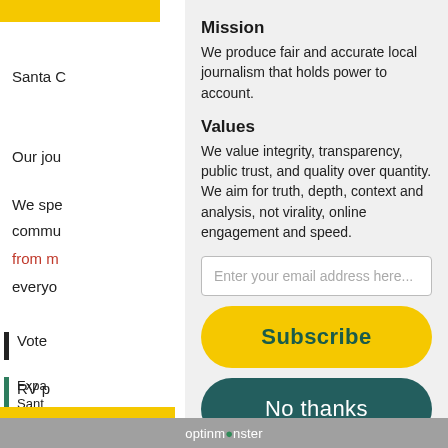Santa C
Our jou
We spe
commu
from m
everyo
Mission
We produce fair and accurate local journalism that holds power to account.
Values
We value integrity, transparency, public trust, and quality over quantity. We aim for truth, depth, context and analysis, not virality, online engagement and speed.
Enter your email address here...
Subscribe
No thanks
optinmonster